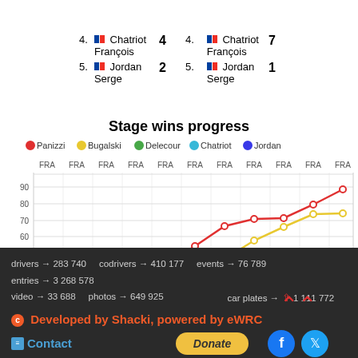| Rank | Driver | Score | Rank | Driver | Score |
| --- | --- | --- | --- | --- | --- |
| 4. | Chatriot François | 4 | 4. | Chatriot François | 7 |
| 5. | Jordan Serge | 2 | 5. | Jordan Serge | 1 |
Stage wins progress
[Figure (line-chart): Stage wins progress]
drivers → 283 740   codrivers → 410 177   events → 76 789   entries → 3 268 578
video → 33 688   photos → 649 925   car plates → 1 111 772
Developed by Shacki, powered by eWRC
Contact   Donate